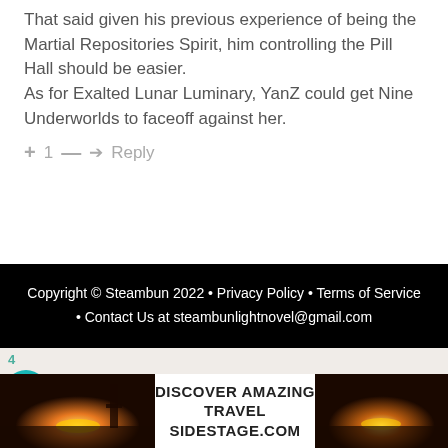That said given his previous experience of being the Martial Repositories Spirit, him controlling the Pill Hall should be easier.
As for Exalted Lunar Luminary, YanZ could get Nine Underworlds to faceoff against her.
+ 1 — → Reply
Copyright © Steambun 2022 • Privacy Policy • Terms of Service • Contact Us at steambunlightnovel@gmail.com
[Figure (screenshot): Advertisement banner showing travel imagery with text DISCOVER AMAZING TRAVEL SIDESTAGE.COM]